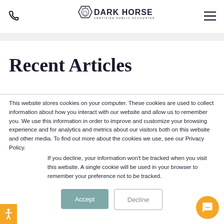Dark Horse Certified Public Accountants – navigation header with phone icon, logo, and menu icon
Recent Articles
This website stores cookies on your computer. These cookies are used to collect information about how you interact with our website and allow us to remember you. We use this information in order to improve and customize your browsing experience and for analytics and metrics about our visitors both on this website and other media. To find out more about the cookies we use, see our Privacy Policy.
If you decline, your information won't be tracked when you visit this website. A single cookie will be used in your browser to remember your preference not to be tracked.